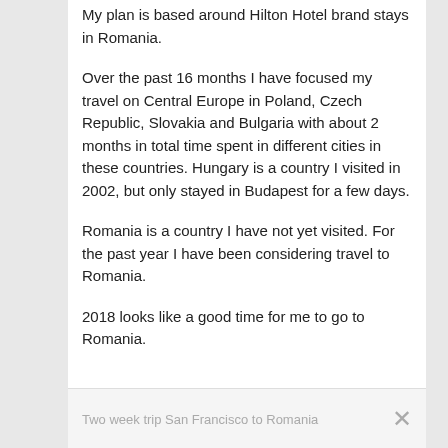My plan is based around Hilton Hotel brand stays in Romania.
Over the past 16 months I have focused my travel on Central Europe in Poland, Czech Republic, Slovakia and Bulgaria with about 2 months in total time spent in different cities in these countries. Hungary is a country I visited in 2002, but only stayed in Budapest for a few days.
Romania is a country I have not yet visited. For the past year I have been considering travel to Romania.
2018 looks like a good time for me to go to Romania.
Two week trip San Francisco to Romania